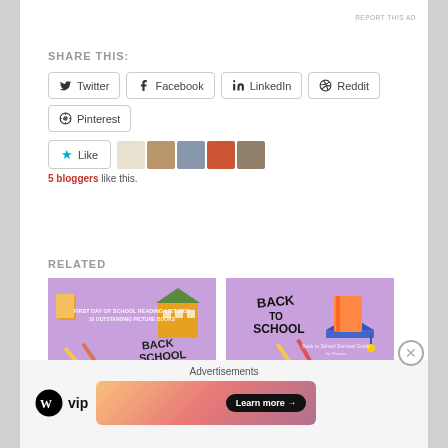REPORT THIS AD
SHARE THIS:
Twitter
Facebook
LinkedIn
Reddit
Pinterest
Like
5 bloggers like this.
RELATED
[Figure (illustration): Purple background card with school building, pencils, books, and 'Back School' text. Overlay text: FIRST DAY OF SCHOOL READING LIST 2022 / 10 OUTSTANDING PICTURE BOOKS]
FIRST DAY OF SCHOOL
[Figure (illustration): Purple background card with graduation cap, notebook, pencils, and text: BACK TO SCHOOL / Back to School Survival Guide for Parents]
Back-to-School Survival
Advertisements
[Figure (logo): WordPress WP VIP logo - black circle with W, followed by 'vip' text]
[Figure (infographic): Gradient orange-red advertisement banner with 'Learn more →' black pill button]